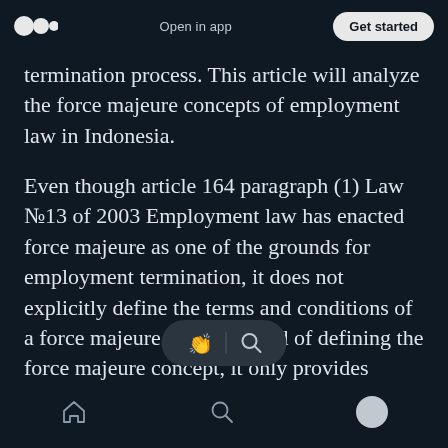Open in app | Get started
termination process. This article will analyze the force majeure concepts of employment law in Indonesia.
Even though article 164 paragraph (1) Law №13 of 2003 Employment law has enacted force majeure as one of the grounds for employment termination, it does not explicitly define the terms and conditions of a force majeure event. Instead of defining the force majeure concept, it only provides technical guidance on termination packages.
Home | Search | Profile